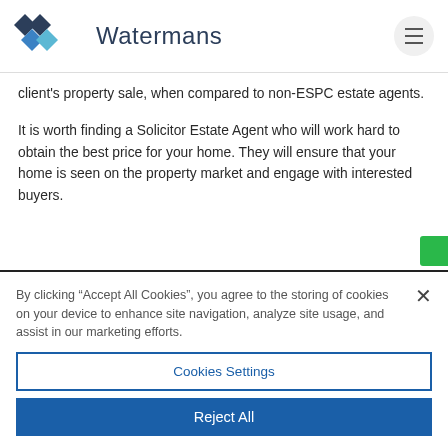Watermans
client's property sale, when compared to non-ESPC estate agents.
It is worth finding a Solicitor Estate Agent who will work hard to obtain the best price for your home. They will ensure that your home is seen on the property market and engage with interested buyers.
By clicking “Accept All Cookies”, you agree to the storing of cookies on your device to enhance site navigation, analyze site usage, and assist in our marketing efforts.
Cookies Settings
Reject All